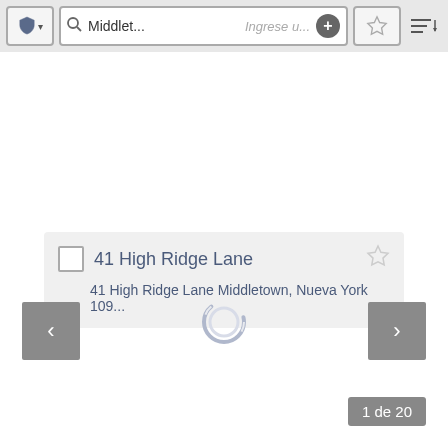[Figure (screenshot): App toolbar with shield/layer button, search bar showing 'Middlet...' and placeholder 'Ingrese u...', add (+) button, star/favorite button, and sort button]
41 High Ridge Lane
41 High Ridge Lane Middletown, Nueva York 109...
[Figure (other): Left navigation arrow button (previous)]
[Figure (other): Loading spinner circle in center]
[Figure (other): Right navigation arrow button (next)]
1 de 20